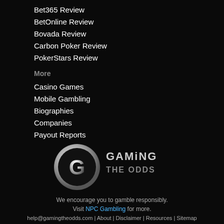Bet365 Review
BetOnline Review
Bovada Review
Carbon Poker Review
PokerStars Review
More
Casino Games
Mobile Gambling
Biographies
Companies
Payout Reports
[Figure (logo): Gaming The Odds logo with silver G circle and stylized text]
We encourage you to gamble responsibly.
Visit NPC Gambling for more.
help@gamingtheodds.com | About | Disclaimer | Resources | Sitemap